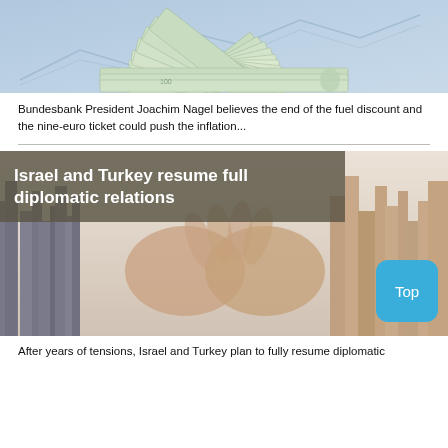[Figure (photo): Fan of US dollar banknotes spread out on a surface, with a blue financial graph overlay in the background]
Bundesbank President Joachim Nagel believes the end of the fuel discount and the nine-euro ticket could push the inflation...
[Figure (photo): Handshake double-exposed with a city skyline image representing Israel-Turkey diplomatic relations, with title overlay 'Israel and Turkey resume full diplomatic relations' and a 'Top' button]
After years of tensions, Israel and Turkey plan to fully resume diplomatic